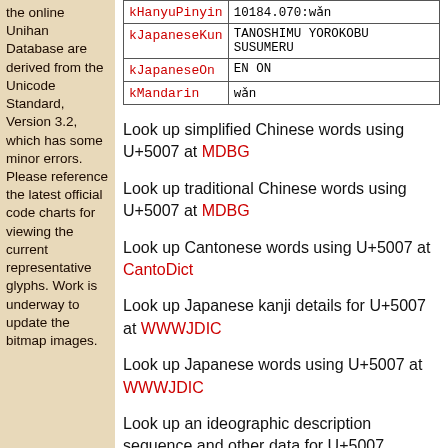the online Unihan Database are derived from the Unicode Standard, Version 3.2, which has some minor errors. Please reference the latest official code charts for viewing the current representative glyphs. Work is underway to update the bitmap images.
| Key | Value |
| --- | --- |
| kHanyuPinyin | 10184.070:wǎn |
| kJapaneseKun | TANOSHIMU YOROKOBU SUSUMERU |
| kJapaneseOn | EN ON |
| kMandarin | wǎn |
Look up simplified Chinese words using U+5007 at MDBG
Look up traditional Chinese words using U+5007 at MDBG
Look up Cantonese words using U+5007 at CantoDict
Look up Japanese kanji details for U+5007 at WWWJDIC
Look up Japanese words using U+5007 at WWWJDIC
Look up an ideographic description sequence and other data for U+5007